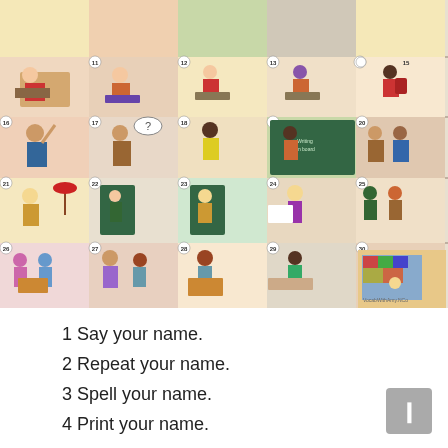[Figure (illustration): Grid of 30 numbered classroom action illustrations arranged in 5 rows of 5 panels each, depicting students and teachers performing various school activities such as sitting, walking, reading, writing, using computers, and interacting.]
1 Say your name.
2 Repeat your name.
3 Spell your name.
4 Print your name.